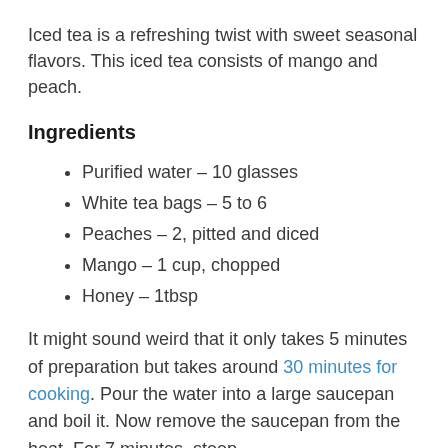Iced tea is a refreshing twist with sweet seasonal flavors. This iced tea consists of mango and peach.
Ingredients
Purified water – 10 glasses
White tea bags – 5 to 6
Peaches – 2, pitted and diced
Mango – 1 cup, chopped
Honey – 1tbsp
It might sound weird that it only takes 5 minutes of preparation but takes around 30 minutes for cooking. Pour the water into a large saucepan and boil it. Now remove the saucepan from the heat. For 7 minutes, steep